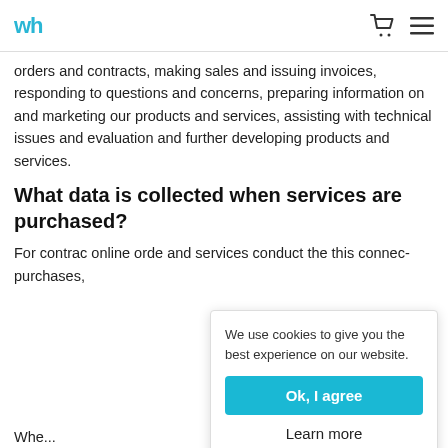wh [logo] [cart icon] [menu icon]
orders and contracts, making sales and issuing invoices, responding to questions and concerns, preparing information on and marketing our products and services, assisting with technical issues and evaluation and further developing products and services.
What data is collected when services are purchased?
For contrac... online orde... and services... conduct the... this connec... purchases,
We use cookies to give you the best experience on our website.
Ok, I agree
Learn more
Whe...